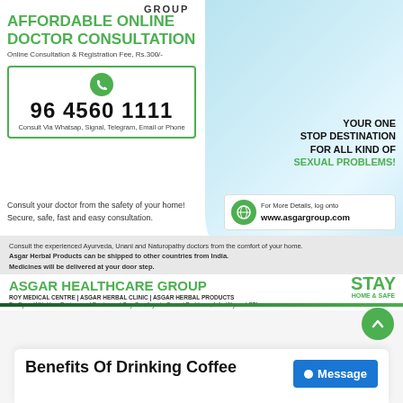GROUP
AFFORDABLE ONLINE DOCTOR CONSULTATION
Online Consultation & Registration Fee, Rs.300/-
96 4560 1111
Consult Via Whatsap, Signal, Telegram, Email or Phone
YOUR ONE STOP DESTINATION FOR ALL KIND OF SEXUAL PROBLEMS!
Consult your doctor from the safety of your home! Secure, safe, fast and easy consultation.
For More Details, log onto www.asgargroup.com
Consult the experienced Ayurveda, Unani and Naturopathy doctors from the comfort of your home. Asgar Herbal Products can be shipped to other countries from India. Medicines will be delivered at your door step.
ASGAR HEALTHCARE GROUP
ROY MEDICAL CENTRE | ASGAR HERBAL CLINIC | ASGAR HERBAL PRODUCTS
Be Open With Your Partner and Doctor and Say Goodbye to Sexual Problems, Infertility and STIs
STAY HOME & SAFE
Benefits Of Drinking Coffee
Message